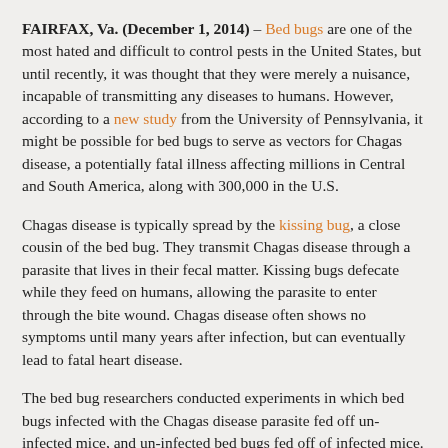FAIRFAX, Va. (December 1, 2014) – Bed bugs are one of the most hated and difficult to control pests in the United States, but until recently, it was thought that they were merely a nuisance, incapable of transmitting any diseases to humans. However, according to a new study from the University of Pennsylvania, it might be possible for bed bugs to serve as vectors for Chagas disease, a potentially fatal illness affecting millions in Central and South America, along with 300,000 in the U.S.
Chagas disease is typically spread by the kissing bug, a close cousin of the bed bug. They transmit Chagas disease through a parasite that lives in their fecal matter. Kissing bugs defecate while they feed on humans, allowing the parasite to enter through the bite wound. Chagas disease often shows no symptoms until many years after infection, but can eventually lead to fatal heart disease.
The bed bug researchers conducted experiments in which bed bugs infected with the Chagas disease parasite fed off un-infected mice, and un-infected bed bugs fed off of infected mice. In both cases, transmission of the parasite occurred to the initially un-infected subjects. Bed bugs also defecate while they feed, and researchers found that mice were able to pick up the parasite when small open wounds came in to contact with infected bed bug feces.